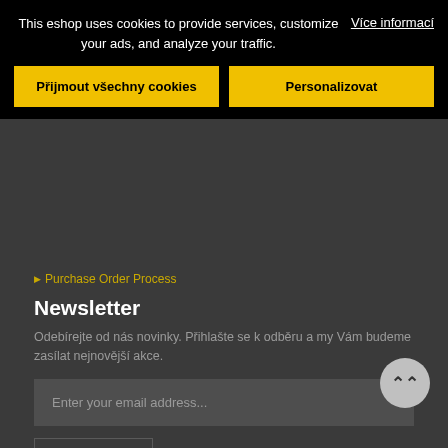This eshop uses cookies to provide services, customize your ads, and analyze your traffic.
Více informací
Přijmout všechny cookies
Personalizovat
Purchase Order Process
Newsletter
Odebírejte od nás novinky. Přihlašte se k odběru a my Vám budeme zasílat nejnovější akce.
Enter your email address...
SUBSCRIBE
Newest blog
[Figure (photo): Blog post thumbnail image, dark/black background with partial image visible at bottom]